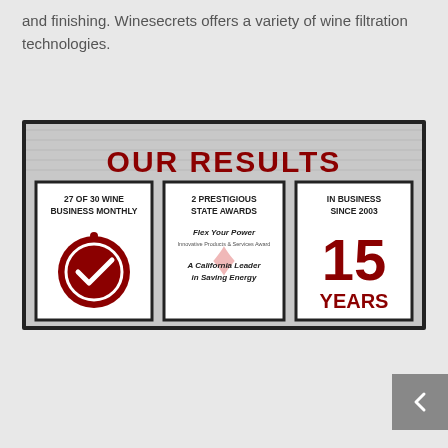and finishing. Winesecrets offers a variety of wine filtration technologies.
[Figure (infographic): Our Results infographic with three panels: 27 of 30 Wine Business Monthly (with checkmark seal), 2 Prestigious State Awards (Flex Your Power Innovative Products & Services Award, A California Leader in Saving Energy), In Business Since 2003 - 15 Years]